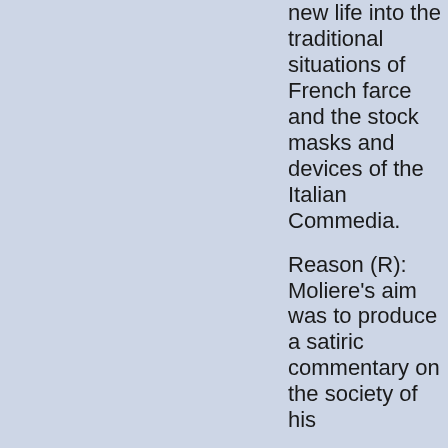new life into the traditional situations of French farce and the stock masks and devices of the Italian Commedia.
Reason (R): Moliere's aim was to produce a satiric commentary on the society of his